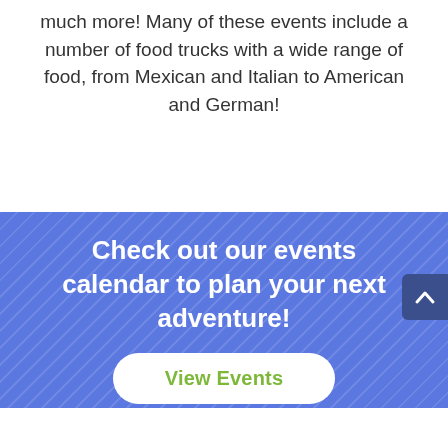much more! Many of these events include a number of food trucks with a wide range of food, from Mexican and Italian to American and German!
[Figure (infographic): Blue diagonal-striped banner with white bold text reading 'Check out our events calendar to plan your next adventure!' and a white rounded button labeled 'View Events' in green, plus a dark blue scroll-to-top arrow button on the right edge.]